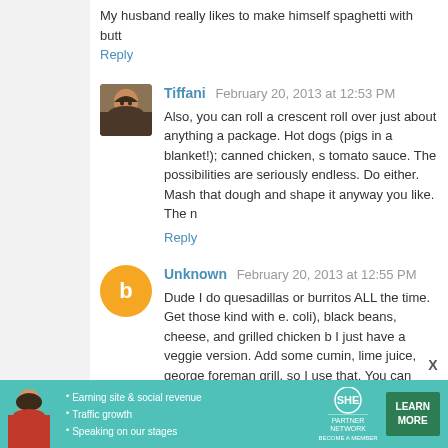My husband really likes to make himself spaghetti with butt...
Reply
Tiffani  February 20, 2013 at 12:53 PM
Also, you can roll a crescent roll over just about anything a... package. Hot dogs (pigs in a blanket!); canned chicken, s... tomato sauce. The possibilities are seriously endless. Do... either. Mash that dough and shape it anyway you like. The n...
Reply
Unknown  February 20, 2013 at 12:55 PM
Dude I do quesadillas or burritos ALL the time. Get those... kind with e. coli), black beans, cheese, and grilled chicken b... I just have a veggie version. Add some cumin, lime juice, ga... george foreman grill, so I use that. You can also just use a... the quesadilla/burrito to get both sides all crunchy like.
Fave flavors:
- spinach and chicken
- black bean and guacamole
- spinach and black bean and mushroom
[Figure (other): SHE Partner Network advertisement banner with woman photo, bullet points about earning site & social revenue, traffic growth, speaking on our stages, SHE logo, and LEARN MORE button]